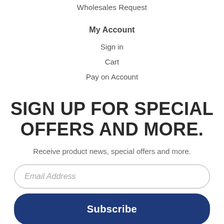Wholesales Request
My Account
Sign in
Cart
Pay on Account
SIGN UP FOR SPECIAL OFFERS AND MORE.
Receive product news, special offers and more.
Email Address
Subscribe